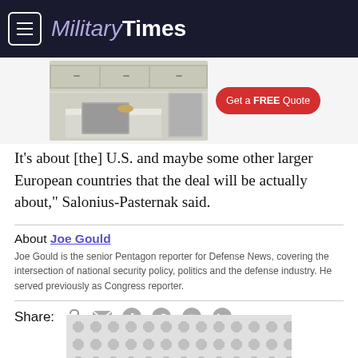Military Times
[Figure (photo): Advertisement banner showing a kitchen photo with 'Get a FREE Quote' button on red background]
It's about [the] U.S. and maybe some other larger European countries that the deal will be actually about," Salonius-Pasternak said.
About Joe Gould
Joe Gould is the senior Pentagon reporter for Defense News, covering the intersection of national security policy, politics and the defense industry. He served previously as Congress reporter.
Share: